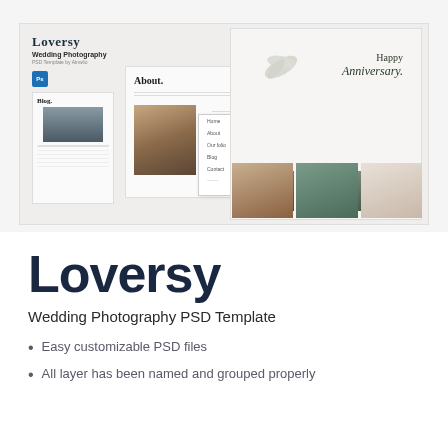[Figure (screenshot): Screenshot of Loversy Wedding Photography PSD Template showing multiple web page layouts including blog, about, navigation, and anniversary pages with wedding photos]
Loversy
Wedding Photography PSD Template
Easy customizable PSD files
All layer has been named and grouped properly